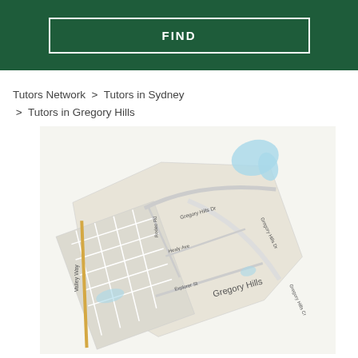FIND
Tutors Network > Tutors in Sydney > Tutors in Gregory Hills
[Figure (map): A street map of Gregory Hills suburb in Sydney, showing local streets including Valley Way, Rodeo Rd, Gregory Hills Dr, Healy Ave, Explorer St, and Gregory Hills label in the center. A small blue water body is visible in the upper right. The map is slightly rotated.]